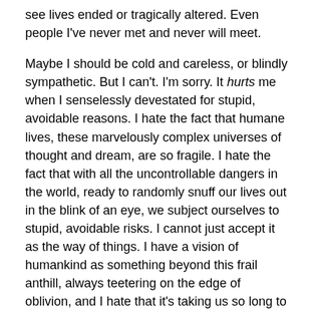see lives ended or tragically altered. Even people I've never met and never will meet.

Maybe I should be cold and careless, or blindly sympathetic. But I can't. I'm sorry. It hurts me when I senselessly devestated for stupid, avoidable reasons. I hate the fact that humane lives, these marvelously complex universes of thought and dream, are so fragile. I hate the fact that with all the uncontrollable dangers in the world, ready to randomly snuff our lives out in the blink of an eye, we subject ourselves to stupid, avoidable risks. I cannot just accept it as the way of things. I have a vision of humankind as something beyond this frail anthill, always teetering on the edge of oblivion, and I hate that it's taking us so long to get there.

I care, and I hurt, and anger is one of the ways that I express that. I get angry the same way I get angry with our